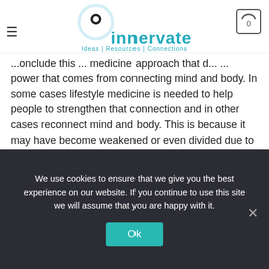Innervate — Ideas | Resources | Connections
...onclude this ... medicine approach that d... ... power that comes from connecting mind and body. In some cases lifestyle medicine is needed to help people to strengthen that connection and in other cases reconnect mind and body. This is because it may have become weakened or even divided due to a trauma at some point in their life.
Thank you for taking the time to read this and I do hope it is useful to someone out there, but please, as I have already stressed, don't take this to mean you should stop taking medication. Your thinking may just help to enhance its
We use cookies to ensure that we give you the best experience on our website. If you continue to use this site we will assume that you are happy with it.